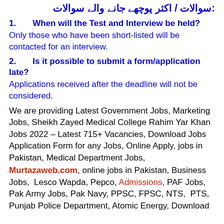سوالات / اکثر پوچھے جانے والے سوالات:
1.   When will the Test and Interview be held?
Only those who have been short-listed will be contacted for an interview.
2.   Is it possible to submit a form/application late?
Applications received after the deadline will not be considered.
We are providing Latest Government Jobs, Marketing Jobs, Sheikh Zayed Medical College Rahim Yar Khan Jobs 2022 – Latest 715+ Vacancies, Download Jobs Application Form for any Jobs, Online Apply, jobs in Pakistan, Medical Department Jobs,
Murtazaweb.com, online jobs in Pakistan, Business Jobs, Lesco Wapda, Pepco, Admissions, PAF Jobs, Pak Army Jobs, Pak Navy, PPSC, FPSC, NTS, PTS, Punjab Police Department, Atomic Energy, Download